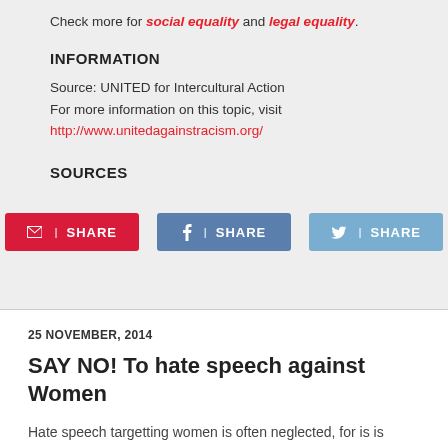Check more for social equality and legal equality.
INFORMATION
Source: UNITED for Intercultural Action
For more information on this topic, visit
http://www.unitedagainstracism.org/
SOURCES
SHARE (email, Facebook, Twitter)
25 NOVEMBER, 2014
SAY NO! To hate speech against Women
Hate speech targetting women is often neglected, for is is so